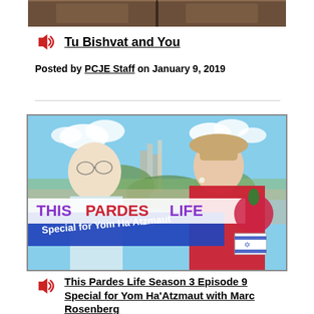[Figure (photo): Top portion of a dark wooden door or paneling, partially cropped]
Tu Bishvat and You
Posted by PCJE Staff on January 9, 2019
[Figure (photo): Two people talking outdoors with a city skyline in the background. A banner overlay reads 'THIS PARDES LIFE Special for Yom Ha'Atzmaut' with a pomegranate graphic and Israeli flag.]
This Pardes Life Season 3 Episode 9 Special for Yom Ha'Atzmaut with Marc Rosenberg